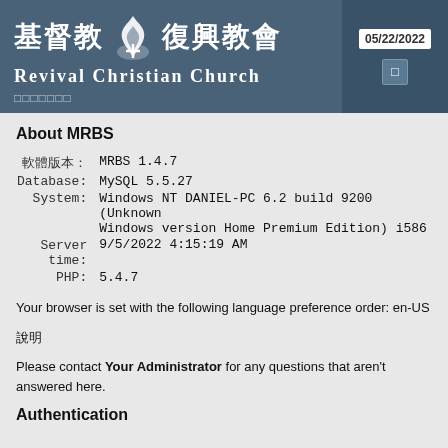[Figure (logo): Revival Christian Church header banner with Chinese characters 基督教 復興教會, flame and cross logo, REVIVAL CHRISTIAN CHURCH text, date 05/22/2022 on right side]
About MRBS
| 軟體版本: | MRBS 1.4.7 |
| Database: | MySQL 5.5.27 |
| System: | Windows NT DANIEL-PC 6.2 build 9200 (Unknown
Windows version Home Premium Edition) i586 |
| Server time: | 9/5/2022 4:15:19 AM |
| PHP: | 5.4.7 |
Your browser is set with the following language preference order: en-US
說明
Please contact Your Administrator for any questions that aren't answered here.
Authentication